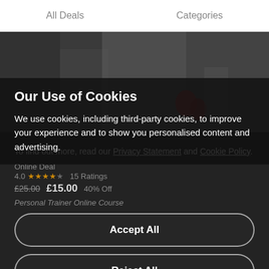All Deals    Categories
[Figure (photo): Gym photo showing people working out with weights and equipment]
Our Use of Cookies
We use cookies, including third-party cookies, to improve your experience and to show you personalised content and advertising.
To find out more, read our Privacy Statement and Cookie Policy.
Online Deal
4.0 ★★★★☆ 15 Ratings
£25.00 £15.00 40% Off
Personal Trainer Online Course
Accept All
Reject All
My Options